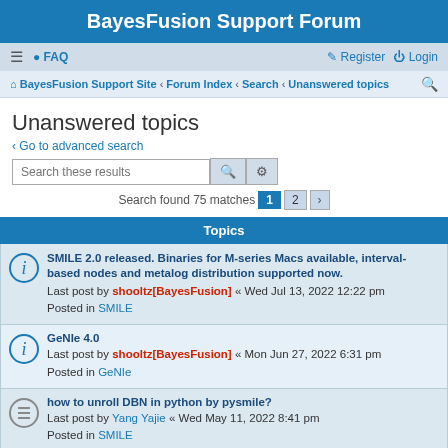BayesFusion Support Forum
≡  FAQ    Register  Login
BayesFusion Support Site · Forum Index · Search · Unanswered topics
Unanswered topics
‹ Go to advanced search
Search these results
Search found 75 matches  1  2  ›
Topics
SMILE 2.0 released. Binaries for M-series Macs available, interval-based nodes and metalog distribution supported now.
Last post by shooltz[BayesFusion] « Wed Jul 13, 2022 12:22 pm
Posted in SMILE
GeNIe 4.0
Last post by shooltz[BayesFusion] « Mon Jun 27, 2022 6:31 pm
Posted in GeNIe
how to unroll DBN in python by pysmile?
Last post by Yang Yajie « Wed May 11, 2022 8:41 pm
Posted in SMILE